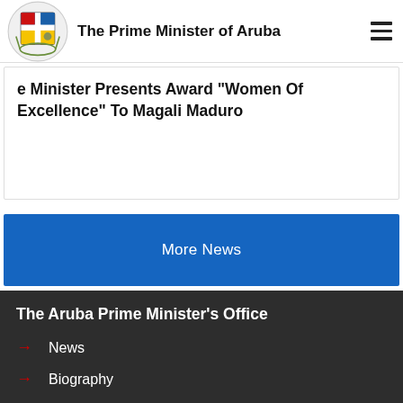The Prime Minister of Aruba
Prime Minister Presents Award “Women Of Excellence” To Magali Maduro
More News
The Aruba Prime Minister’s Office
News
Biography